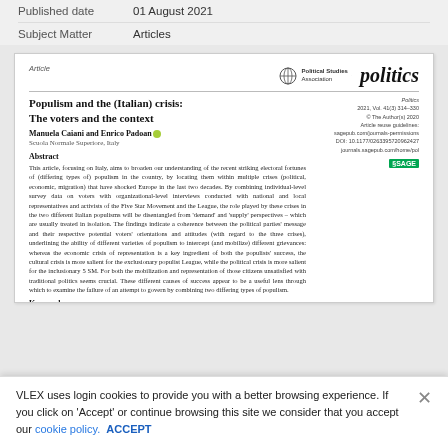| Field | Value |
| --- | --- |
| Published date | 01 August 2021 |
| Subject Matter | Articles |
[Figure (screenshot): Embedded journal article preview showing Politics journal article titled 'Populism and the (Italian) crisis: The voters and the context' by Manuela Caiani and Enrico Padoan, with abstract and keywords]
VLEX uses login cookies to provide you with a better browsing experience. If you click on 'Accept' or continue browsing this site we consider that you accept our cookie policy. ACCEPT